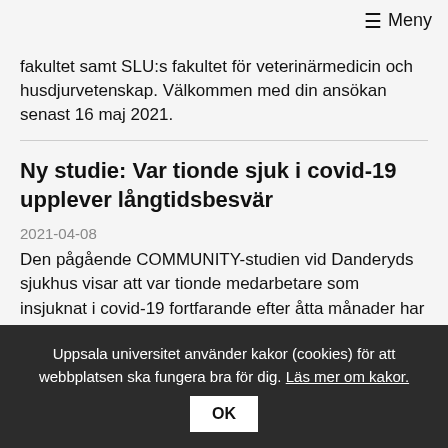≡ Meny
fakultet samt SLU:s fakultet för veterinärmedicin och husdjurvetenskap. Välkommen med din ansökan senast 16 maj 2021.
Ny studie: Var tionde sjuk i covid-19 upplever långtidsbesvär
2021-04-08
Den pågående COMMUNITY-studien vid Danderyds sjukhus visar att var tionde medarbetare som insjuknat i covid-19 fortfarande efter åtta månader har besvär som påverkar deras livskvalitet negativt.
Uppsala universitet använder kakor (cookies) för att webbplatsen ska fungera bra för dig. Läs mer om kakor. OK